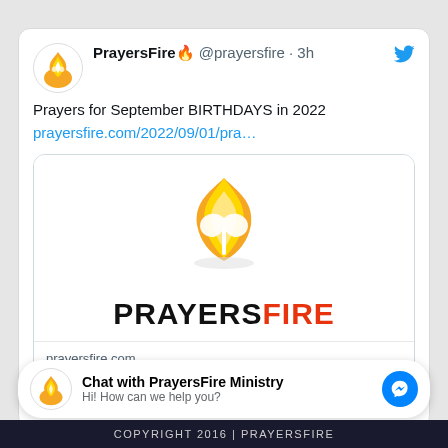[Figure (screenshot): Twitter/X tweet from PrayersFire account (@prayersfire) posted 3h ago. Tweet text: 'Prayers for September BIRTHDAYS in 2022 prayersfire.com/2022/09/01/pra...' with a link preview card showing the PrayersFire logo (flame with dove) and site title 'Prayers for September BIRTHDAYS in 2022 | PRAYERS FIRE' from prayersfire.com]
[Figure (screenshot): Facebook Messenger chat widget: 'Chat with PrayersFire Ministry' with subtext 'Hi! How can we help you?' and a blue messenger icon button]
COPYRIGHT 2016 | PRAYERSFIRE